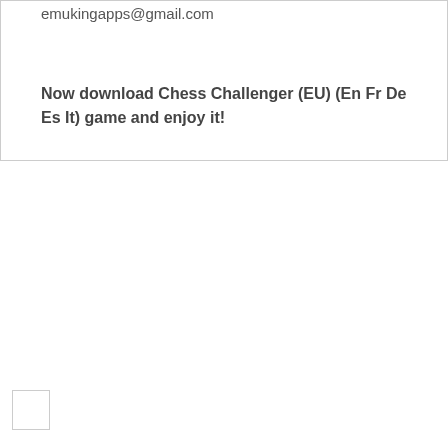emukingapps@gmail.com
Now download Chess Challenger (EU) (En Fr De Es It) game and enjoy it!
[Figure (other): Small empty white box with light gray border]